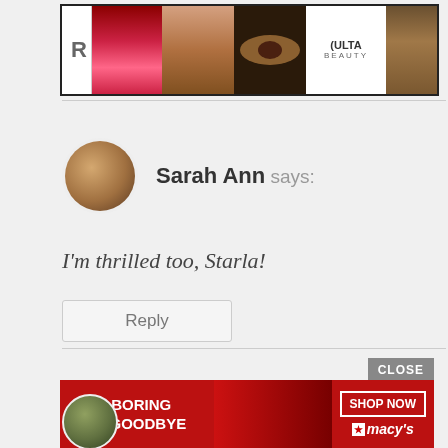[Figure (screenshot): Top advertisement banner for Ulta Beauty showing makeup images (lips, brush, eyes, Ulta logo, model) with 'SHOP NOW' button on black background]
Sarah Ann says:
I'm thrilled too, Starla!
Reply
[Figure (screenshot): Bottom advertisement for Macy's cosmetics with red background, 'KISS BORING LIPS GOODBYE' text, model with red lips, and 'SHOP NOW' button with Macy's star logo]